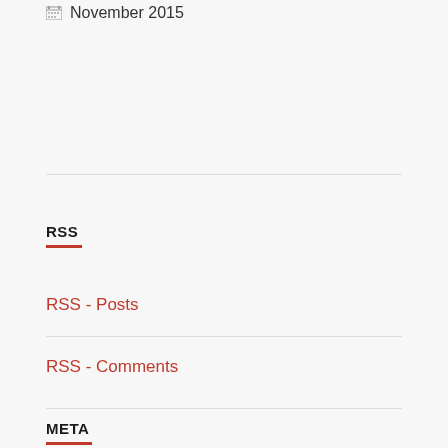November 2015
RSS
RSS - Posts
RSS - Comments
META